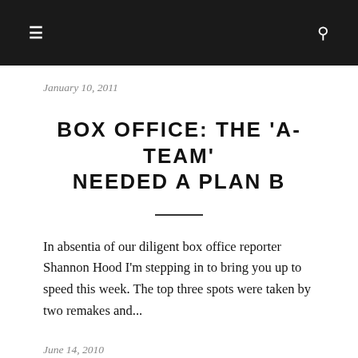☰  🔍
January 10, 2011
BOX OFFICE: THE 'A-TEAM' NEEDED A PLAN B
In absentia of our diligent box office reporter Shannon Hood I'm stepping in to bring you up to speed this week. The top three spots were taken by two remakes and...
June 14, 2010